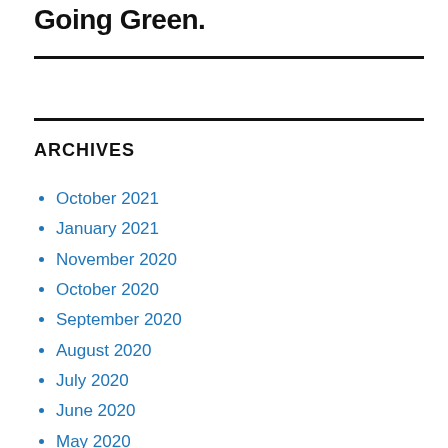Going Green.
ARCHIVES
October 2021
January 2021
November 2020
October 2020
September 2020
August 2020
July 2020
June 2020
May 2020